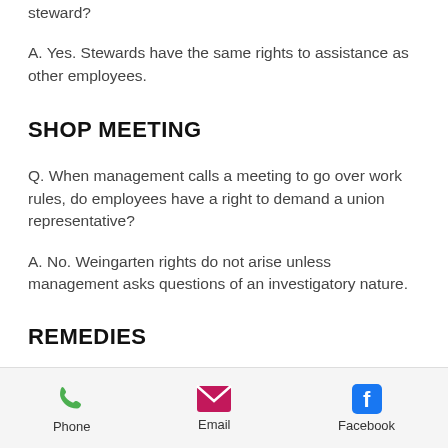steward?
A. Yes. Stewards have the same rights to assistance as other employees.
SHOP MEETING
Q. When management calls a meeting to go over work rules, do employees have a right to demand a union representative?
A. No. Weingarten rights do not arise unless management asks questions of an investigatory nature.
REMEDIES
Q. If management rejects a worker's request for union assistance at an
[Figure (infographic): Footer navigation bar with Phone (green phone icon), Email (pink envelope icon), and Facebook (blue Facebook icon) options]